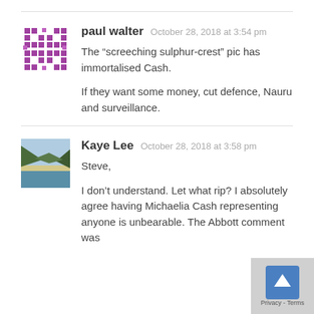paul walter   October 28, 2018 at 3:54 pm
The “screeching sulphur-crest” pic has immortalised Cash.

If they want some money, cut defence, Nauru and surveillance.
Kaye Lee   October 28, 2018 at 3:58 pm
Steve,

I don’t understand. Let what rip? I absolutely agree having Michaelia Cash representing anyone is unbearable. The Abbott comment was